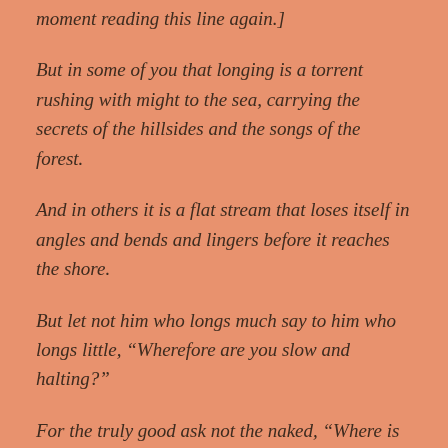moment reading this line again.]
But in some of you that longing is a torrent rushing with might to the sea, carrying the secrets of the hillsides and the songs of the forest.
And in others it is a flat stream that loses itself in angles and bends and lingers before it reaches the shore.
But let not him who longs much say to him who longs little, “Wherefore are you slow and halting?”
For the truly good ask not the naked, “Where is your garment.” Nor the house less, “Where has befallen your house?”